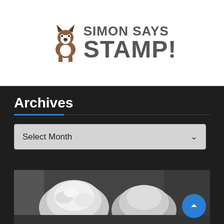[Figure (logo): Simon Says Stamp logo with Boston Terrier dog illustration and brand name text]
Archives
[Figure (screenshot): Select Month dropdown widget on dark background]
[Figure (photo): Black and white photograph showing snow-covered mushrooms or fungi outdoors]